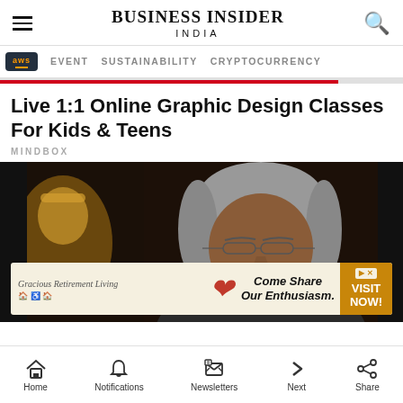BUSINESS INSIDER INDIA
EVENT   SUSTAINABILITY   CRYPTOCURRENCY
Live 1:1 Online Graphic Design Classes For Kids & Teens
MINDBOX
[Figure (photo): Close-up photo of an older Indian man with grey hair and glasses, with a golden statue partially visible in the background. An advertisement banner overlays the lower portion of the image reading: 'Gracious Retirement Living — Come Share Our Enthusiasm. VISIT NOW!']
Home   Notifications   Newsletters   Next   Share